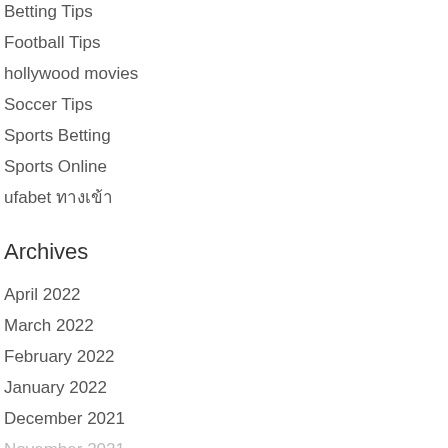Betting Tips
Football Tips
hollywood movies
Soccer Tips
Sports Betting
Sports Online
ufabet ทางเข้า
Archives
April 2022
March 2022
February 2022
January 2022
December 2021
November 2021